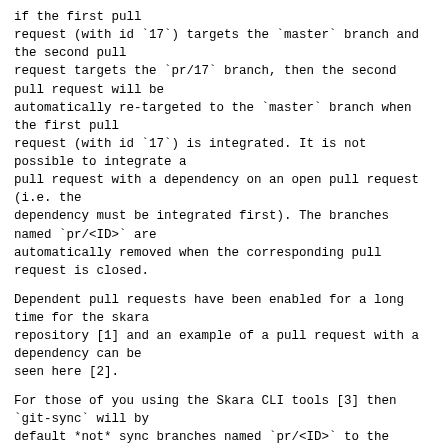if the first pull request (with id `17`) targets the `master` branch and the second pull request targets the `pr/17` branch, then the second pull request will be automatically re-targeted to the `master` branch when the first pull request (with id `17`) is integrated. It is not possible to integrate a pull request with a dependency on an open pull request (i.e. the dependency must be integrated first). The branches named `pr/<ID>` are automatically removed when the corresponding pull request is closed.
Dependent pull requests have been enabled for a long time for the skara repository [1] and an example of a pull request with a dependency can be seen here [2].
For those of you using the Skara CLI tools [3] then `git-sync` will by default *not* sync branches named `pr/<ID>` to the personal fork. If it did then you would have to delete all `pr/<ID>` branches in your personal fork yourself. This default behavior can be overridden by